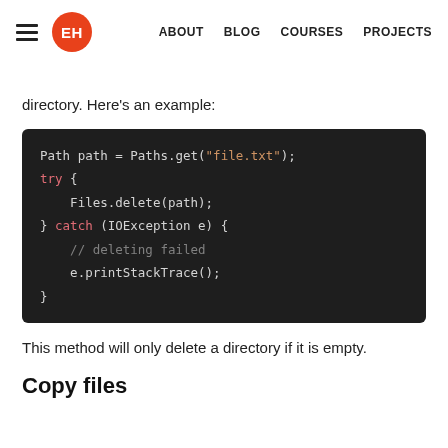EH | ABOUT  BLOG  COURSES  PROJECTS
directory. Here's an example:
[Figure (screenshot): Java code block on dark background showing: Path path = Paths.get("file.txt"); try { Files.delete(path); } catch (IOException e) { // deleting failed e.printStackTrace(); }]
This method will only delete a directory if it is empty.
Copy files